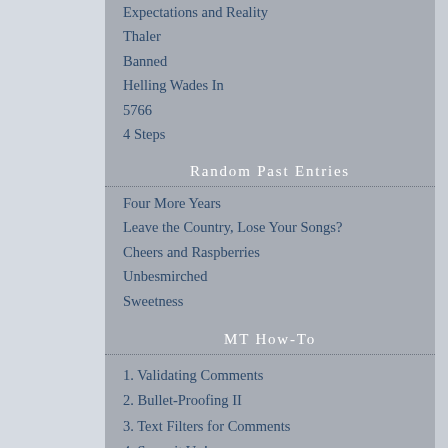Expectations and Reality
Thaler
Banned
Helling Wades In
5766
4 Steps
Random Past Entries
Four More Years
Leave the Country, Lose Your Songs?
Cheers and Raspberries
Unbesmirched
Sweetness
MT How-To
1. Validating Comments
2. Bullet-Proofing II
3. Text Filters for Comments
4. Serve it Up!
5. <abbr>, <acronym>, Accessibility & ...
6. Forcing Comment Previews
7. Internationalization and Trackbacks